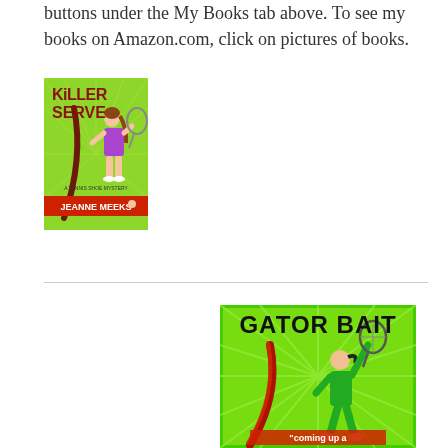buttons under the My Books tab above. To see my books on Amazon.com, click on pictures of books.
[Figure (illustration): Book cover for 'Killer Serve' by Jeanne Meeks. Green background with radiating lines, a woman in purple tennis outfit holding a racket, large red text reading KILLER SERVE, banner at bottom with author name JEANNE MEEKS.]
[Figure (illustration): Book cover for 'Gator Bait'. Bright green background with radiating yellow lines, a person in green outfit swinging a tennis racket overhead, large bold black text reading GATOR BAIT, partial text at bottom reading 'coming up a'.]